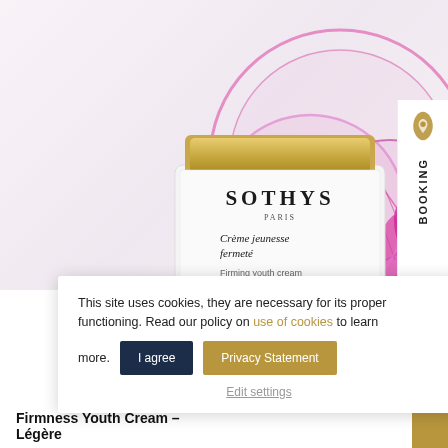[Figure (photo): Sothys Paris Crème jeunesse fermeté (Firming youth cream) white jar with gold lid, against pink floral decorative background with circular petri dish elements]
[Figure (logo): Booking sidebar with gold droplet icon and vertical BOOKING text]
This site uses cookies, they are necessary for its proper functioning. Read our policy on use of cookies to learn more.
I agree
Privacy Statement
Edit settings
Firmness Youth Cream – Légère